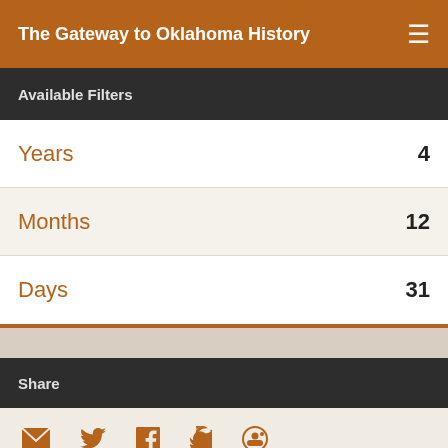The Gateway to Oklahoma History
Available Filters
Years  4
Months  12
Days  31
Share
[Figure (infographic): Social share icons: email, Twitter, Facebook, Tumblr, Reddit]
Your web browser (iOS 11) is out of date. Some features on this site may not work.